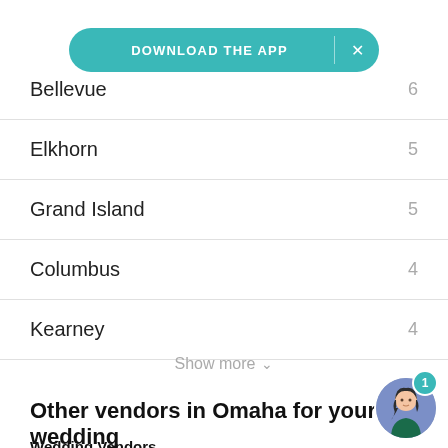[Figure (other): Download the App banner button in teal/green color with X close button]
Bellevue  6
Elkhorn  5
Grand Island  5
Columbus  4
Kearney  4
Show more
Other vendors in Omaha for your wedding
Wedding Vendors
Wedding DJs · Wedding Hair & Makeup ·
[Figure (illustration): Chat avatar with woman illustration on purple/blue circle background with teal badge showing number 1]